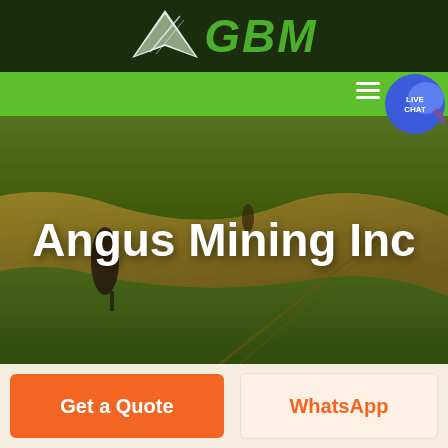[Figure (logo): GBM logo with white arrow/chevron graphic on dark green background and green bold italic GBM text]
[Figure (screenshot): Green navigation bar with hamburger menu icon and Live Chat button on right side]
[Figure (photo): Aerial photo of rolling green and golden agricultural fields with trees, overlaid with white bold text 'Angus Mining Inc']
Angus Mining Inc
[Figure (infographic): Two call-to-action buttons: orange 'Get a Quote' button and cream/peach 'WhatsApp' button on light background]